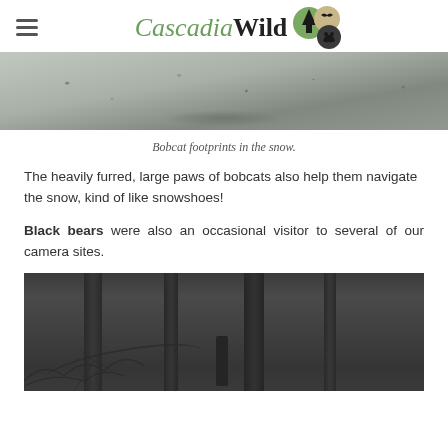Cascadia Wild
[Figure (photo): Bobcat footprints in the snow - grayscale overhead photo of snow with tracks and debris visible]
Bobcat footprints in the snow.
The heavily furred, large paws of bobcats also help them navigate the snow, kind of like snowshoes!
Black bears were also an occasional visitor to several of our camera sites.
[Figure (photo): Nighttime trail camera photo of forest with trees and a dark silhouette figure visible among the trees]